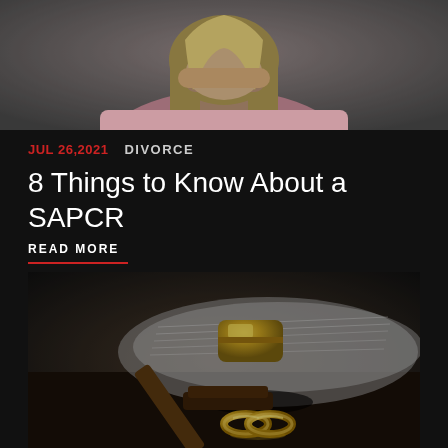[Figure (photo): Woman with blonde hair in pink clothing, head in hands, distressed pose against dark background]
JUL 26,2021   DIVORCE
8 Things to Know About a SAPCR
READ MORE
[Figure (photo): Judge's gavel on a law book with two gold wedding rings in the foreground on dark background]